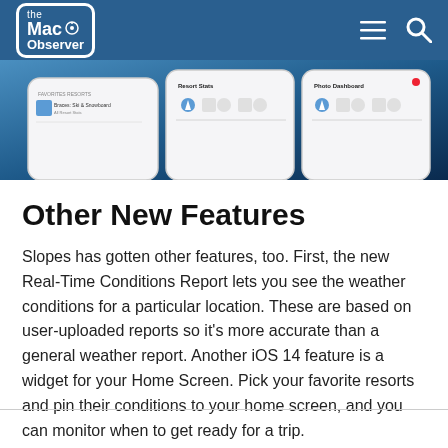the Mac Observer
[Figure (screenshot): Screenshot showing iPhone mockups with the Slopes app interface displaying resort stats and photo dashboard screens against a blue gradient background]
Other New Features
Slopes has gotten other features, too. First, the new Real-Time Conditions Report lets you see the weather conditions for a particular location. These are based on user-uploaded reports so it’s more accurate than a general weather report. Another iOS 14 feature is a widget for your Home Screen. Pick your favorite resorts and pin their conditions to your home screen, and you can monitor when to get ready for a trip.